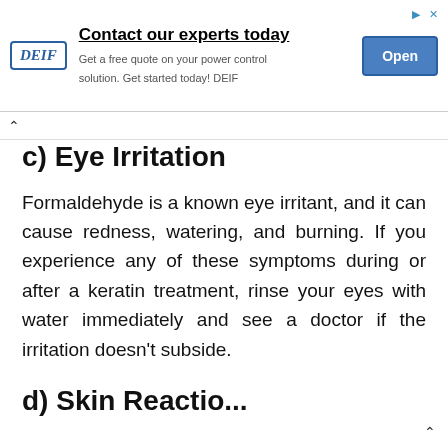[Figure (other): DEIF advertisement banner: logo with text 'Contact our experts today', subtext 'Get a free quote on your power control solution. Get started today! DEIF', and an 'Open' button]
c) Eye Irritation
Formaldehyde is a known eye irritant, and it can cause redness, watering, and burning. If you experience any of these symptoms during or after a keratin treatment, rinse your eyes with water immediately and see a doctor if the irritation doesn't subside.
d) Skin Reactions